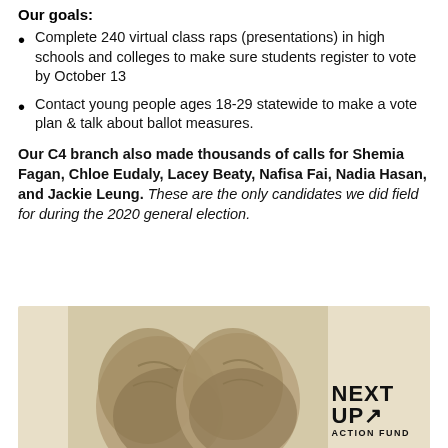Our goals:
Complete 240 virtual class raps (presentations) in high schools and colleges to make sure students register to vote by October 13
Contact young people ages 18-29 statewide to make a vote plan & talk about ballot measures.
Our C4 branch also made thousands of calls for Shemia Fagan, Chloe Eudaly, Lacey Beaty, Nafisa Fai, Nadia Hasan, and Jackie Leung. These are the only candidates we did field for during the 2020 general election.
[Figure (photo): Photo of boxing gloves with Next Up Action Fund logo in the bottom right corner]